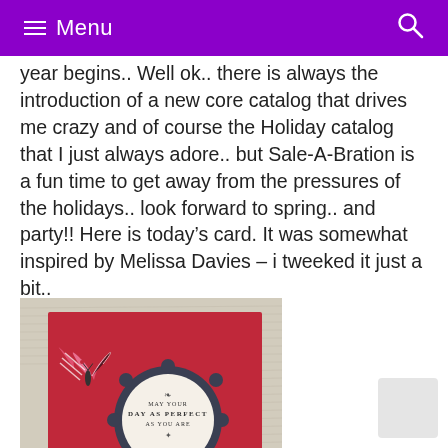Menu
year begins.. Well ok.. there is always the introduction of a new core catalog that drives me crazy and of course the Holiday catalog that I just always adore.. but Sale-A-Bration is a fun time to get away from the pressures of the holidays.. look forward to spring.. and party!! Here is today's card. It was somewhat inspired by Melissa Davies – i tweeked it just a bit..
[Figure (photo): A handmade greeting card with a red background, a pink and white chevron patterned butterfly embellishment, a dark grey circular scalloped tag with stamped text reading 'MAY YOUR DAY AS PERFECT AS YOU ARE', and a white satin ribbon bow at the bottom. The background appears to be newsprint or book page paper.]